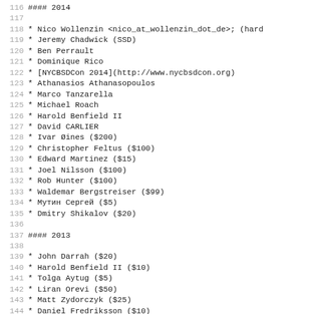#### 2014
* Nico Wollenzin <nico_at_wollenzin_dot_de>; (hard
* Jeremy Chadwick (SSD)
* Ben Perrault
* Dominique Rico
* [NYCBSDCon 2014](http://www.nycbsdcon.org)
* Athanasios Athanasopoulos
* Marco Tanzarella
* Michael Roach
* Harold Benfield II
* David CARLIER
* Ivar Øines ($200)
* Christopher Feltus ($100)
* Edward Martinez ($15)
* Joel Nilsson ($100)
* Rob Hunter ($100)
* Waldemar Bergstreiser ($99)
* Мутин Сергей ($5)
* Dmitry Shikalov ($20)
#### 2013
* John Darrah ($20)
* Harold Benfield II ($10)
* Tolga Aytug ($5)
* Liran Orevi ($50)
* Matt Zydorczyk ($25)
* Daniel Fredriksson ($10)
* Patrick Martin ($100)
* Praveen Bhamidipati ($100)